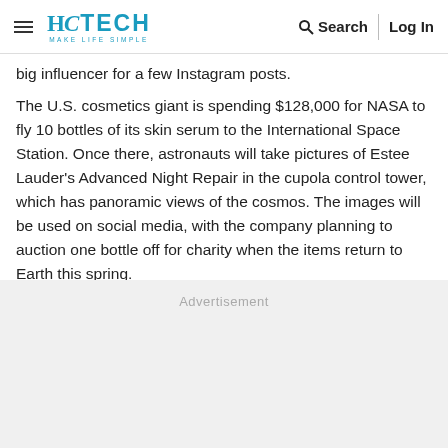HT TECH MAKE LIFE SIMPLE | Search | Log In
big influencer for a few Instagram posts.
The U.S. cosmetics giant is spending $128,000 for NASA to fly 10 bottles of its skin serum to the International Space Station. Once there, astronauts will take pictures of Estee Lauder's Advanced Night Repair in the cupola control tower, which has panoramic views of the cosmos. The images will be used on social media, with the company planning to auction one bottle off for charity when the items return to Earth this spring.
Advertisement